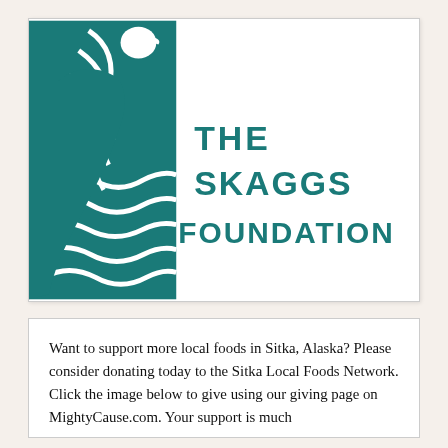[Figure (logo): The Skaggs Foundation logo: teal rectangular emblem on the left with a stylized raven/bird and wave motifs in white, and bold teal text reading 'THE SKAGGS FOUNDATION' to the right.]
Want to support more local foods in Sitka, Alaska? Please consider donating today to the Sitka Local Foods Network. Click the image below to give using our giving page on MightyCause.com. Your support is much...